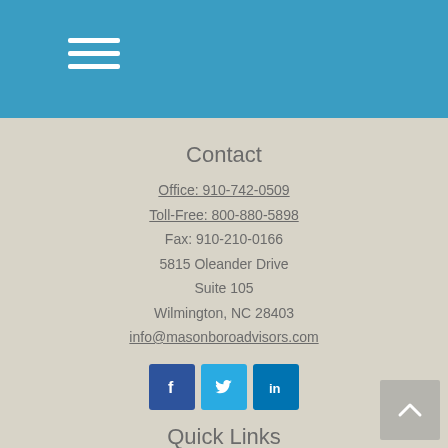Navigation menu
Contact
Office: 910-742-0509
Toll-Free: 800-880-5898
Fax: 910-210-0166
5815 Oleander Drive
Suite 105
Wilmington, NC 28403
info@masonboroadvisors.com
[Figure (other): Social media icons: Facebook, Twitter, LinkedIn]
Quick Links
Retirement
Investment
Estate
Insurance
Tax